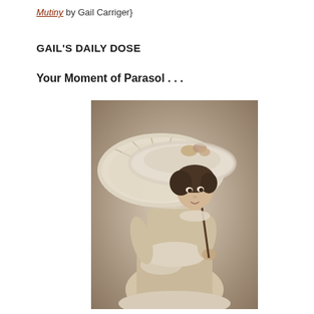Mutiny by Gail Carriger}
GAIL'S DAILY DOSE
Your Moment of Parasol . . .
[Figure (photo): Vintage sepia photograph of a Victorian-era woman wearing a large ornate white lace hat and holding a white lace parasol, dressed in a light-colored Victorian dress with lace detailing.]